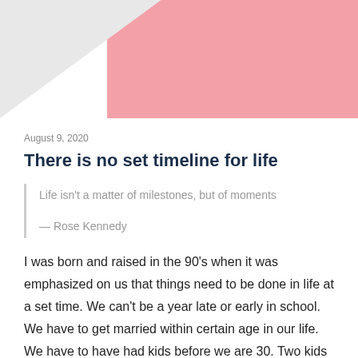[Figure (illustration): Hero image with pink background and white triangular graphic element on the left side]
August 9, 2020
There is no set timeline for life
Life isn't a matter of milestones, but of moments

— Rose Kennedy
I was born and raised in the 90's when it was emphasized on us that things need to be done in life at a set time. We can't be a year late or early in school. We have to get married within certain age in our life. We have to have had kids before we are 30. Two kids can't